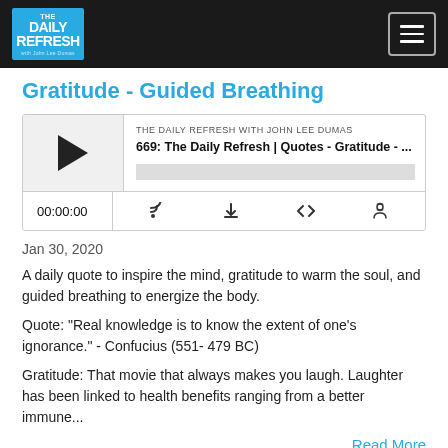THE DAILY REFRESH
Gratitude - Guided Breathing
[Figure (screenshot): Podcast player widget for episode '669: The Daily Refresh | Quotes - Gratitude - ...' with play button, time display 00:00:00, and control icons]
Jan 30, 2020
A daily quote to inspire the mind, gratitude to warm the soul, and guided breathing to energize the body.
Quote: "Real knowledge is to know the extent of one's ignorance." - Confucius (551- 479 BC)
Gratitude: That movie that always makes you laugh. Laughter has been linked to health benefits ranging from a better immune...
Read More